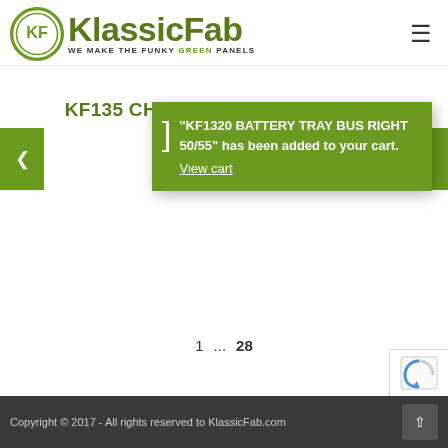[Figure (logo): KlassicFab logo with KF circle emblem and tagline 'WE MAKE THE FUNKY GREEN PANELS']
KF135 CHASSIS PROFILE REPAIR SECTIONS, SOLD...
"KF1320 BATTERY TRAY BUS RIGHT 50/55" has been added to your cart.
View cart
1 ... 28
Copyright © 2017 - All rights reserved to KlassicFab.com